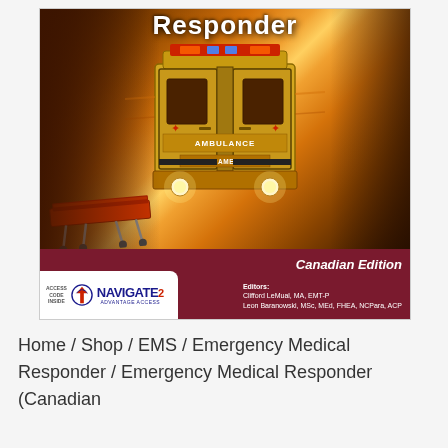[Figure (photo): Book cover of Emergency Medical Responder, Canadian Edition. Shows the rear of an ambulance with 'AMBULANCE' and 'PARAMEDIC' text, lit up in a tunnel or dark environment. A stretcher is visible to the left. Bottom section is dark red with 'Canadian Edition' label and editors' names. Navigate 2 Advantage Access badge in lower left corner.]
Home / Shop / EMS / Emergency Medical Responder / Emergency Medical Responder (Canadian